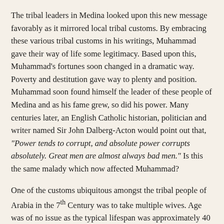The tribal leaders in Medina looked upon this new message favorably as it mirrored local tribal customs. By embracing these various tribal customs in his writings, Muhammad gave their way of life some legitimacy. Based upon this, Muhammad's fortunes soon changed in a dramatic way. Poverty and destitution gave way to plenty and position. Muhammad soon found himself the leader of these people of Medina and as his fame grew, so did his power. Many centuries later, an English Catholic historian, politician and writer named Sir John Dalberg-Acton would point out that, "Power tends to corrupt, and absolute power corrupts absolutely. Great men are almost always bad men." Is this the same malady which now affected Muhammad?
One of the customs ubiquitous amongst the tribal people of Arabia in the 7th Century was to take multiple wives. Age was of no issue as the typical lifespan was approximately 40 years. Even without war, life was brutal and short. These were people who did not enjoy much in the way of luxury, essentially being nomadic.